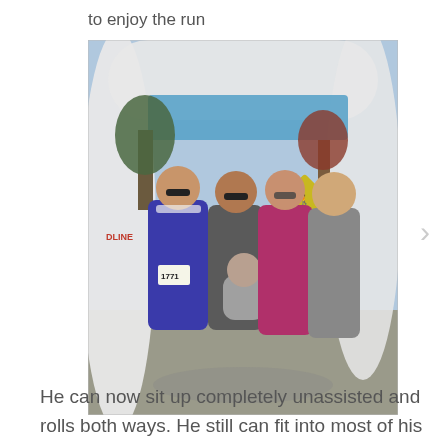to enjoy the run
[Figure (photo): Group photo of four adults and a baby standing under an inflatable arch at a running race finish line. One woman on the left wears a blue jacket and a race bib numbered 1771. A man holds a baby dressed in a grey bunny suit. A woman in a magenta jacket wears a white cap. A bald man stands on the right. There is a pedestrian crossing sign and decorative banners visible in the background.]
He can now sit up completely unassisted and rolls both ways. He still can fit into most of his 3-